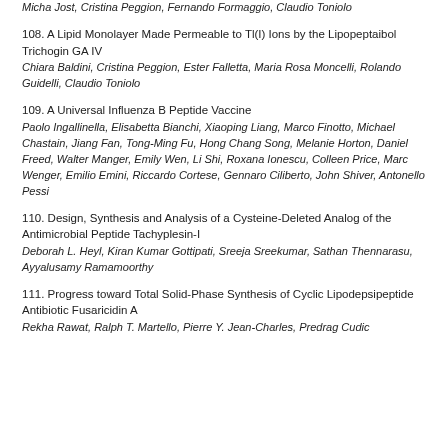Micha Jost, Cristina Peggion, Fernando Formaggio, Claudio Toniolo
108. A Lipid Monolayer Made Permeable to Tl(I) Ions by the Lipopeptaibol Trichogin GA IV
Chiara Baldini, Cristina Peggion, Ester Falletta, Maria Rosa Moncelli, Rolando Guidelli, Claudio Toniolo
109. A Universal Influenza B Peptide Vaccine
Paolo Ingallinella, Elisabetta Bianchi, Xiaoping Liang, Marco Finotto, Michael Chastain, Jiang Fan, Tong-Ming Fu, Hong Chang Song, Melanie Horton, Daniel Freed, Walter Manger, Emily Wen, Li Shi, Roxana Ionescu, Colleen Price, Marc Wenger, Emilio Emini, Riccardo Cortese, Gennaro Ciliberto, John Shiver, Antonello Pessi
110. Design, Synthesis and Analysis of a Cysteine-Deleted Analog of the Antimicrobial Peptide Tachyplesin-I
Deborah L. Heyl, Kiran Kumar Gottipati, Sreeja Sreekumar, Sathan Thennarasu, Ayyalusamy Ramamoorthy
111. Progress toward Total Solid-Phase Synthesis of Cyclic Lipodepsipeptide Antibiotic Fusaricidin A
Rekha Rawat, Ralph T. Martello, Pierre Y. Jean-Charles, Predrag Cudic